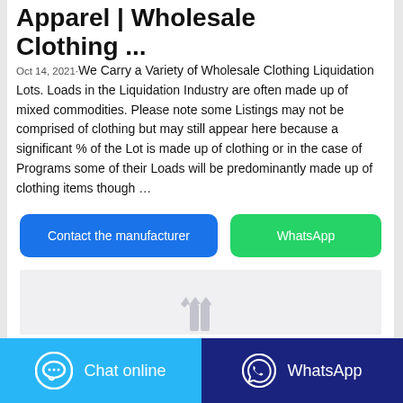Apparel | Wholesale Clothing ...
Oct 14, 2021·We Carry a Variety of Wholesale Clothing Liquidation Lots. Loads in the Liquidation Industry are often made up of mixed commodities. Please note some Listings may not be comprised of clothing but may still appear here because a significant % of the Lot is made up of clothing or in the case of Programs some of their Loads will be predominantly made up of clothing items though …
[Figure (screenshot): Two buttons: 'Contact the manufacturer' (blue) and 'WhatsApp' (green)]
[Figure (photo): Light gray image placeholder with small icon of clothing/garments visible at the bottom]
[Figure (screenshot): Bottom bar with 'Chat online' button (light blue) and 'WhatsApp' button (dark blue)]